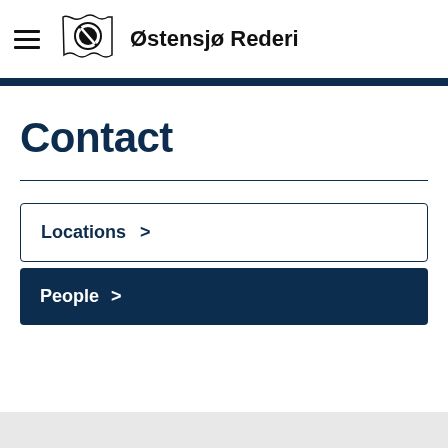Østensjø Rederi
Contact
Locations >
People >